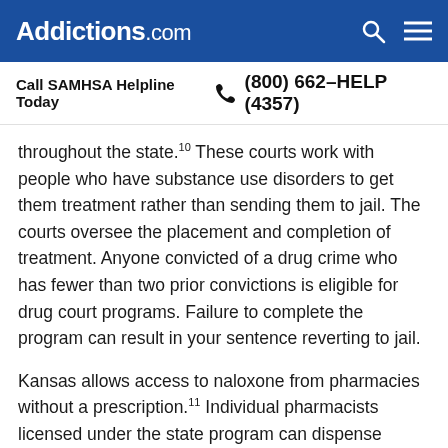Addictions.com
Call SAMHSA Helpline Today  (800) 662-HELP (4357)
throughout the state.10 These courts work with people who have substance use disorders to get them treatment rather than sending them to jail. The courts oversee the placement and completion of treatment. Anyone convicted of a drug crime who has fewer than two prior convictions is eligible for drug court programs. Failure to complete the program can result in your sentence reverting to jail.
Kansas allows access to naloxone from pharmacies without a prescription.11 Individual pharmacists licensed under the state program can dispense naloxone to patients, family members and bystanders, law enforcement and EMS agencies, and